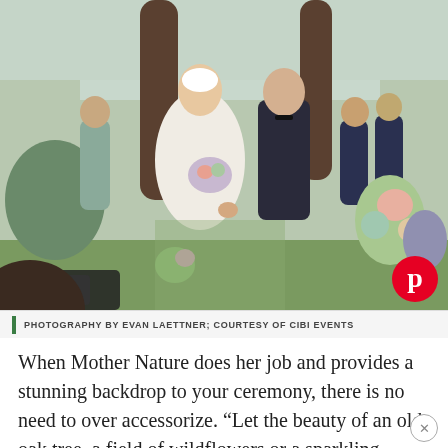[Figure (photo): Wedding photo of a bride and groom walking down the aisle outdoors. The bride wears a white mermaid dress and holds a colorful wildflower bouquet. The groom wears a dark suit with a bow tie. Bridesmaids in sage green dresses and groomsmen in navy suits flank them. Large oak trees and a body of water are visible in the background. Guests applaud. Floral arrangements line the aisle. A Pinterest logo badge is in the lower right corner.]
PHOTOGRAPHY BY EVAN LAETTNER; COURTESY OF CIBI EVENTS
When Mother Nature does her job and provides a stunning backdrop to your ceremony, there is no need to over accessorize. “Let the beauty of an old oak tree, a field of wildflowers or a sparkling stream be the backdrop to your